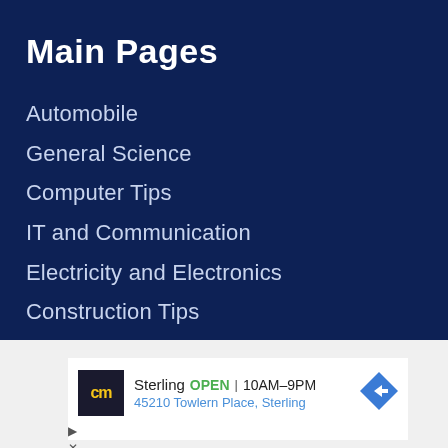Main Pages
Automobile
General Science
Computer Tips
IT and Communication
Electricity and Electronics
Construction Tips
[Figure (infographic): Advertisement banner for cm store in Sterling showing logo, OPEN status, hours 10AM-9PM, and address 45210 Towlern Place, Sterling]